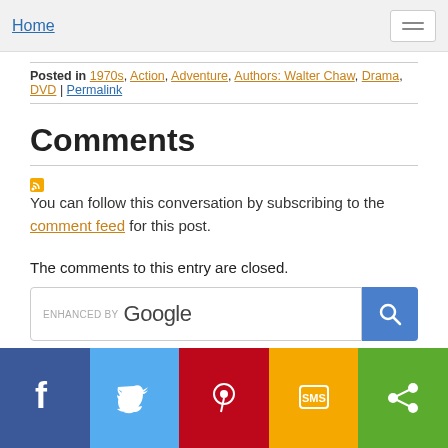Home
Posted in 1970s, Action, Adventure, Authors: Walter Chaw, Drama, DVD | Permalink
Comments
You can follow this conversation by subscribing to the comment feed for this post.
The comments to this entry are closed.
[Figure (other): ENHANCED BY Google search bar with blue search button]
Social sharing buttons: Facebook, Twitter, Pinterest, SMS, Share